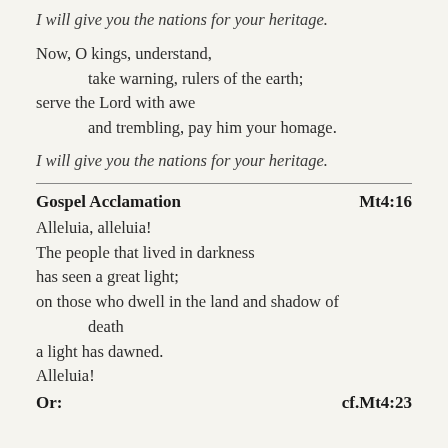I will give you the nations for your heritage.
Now, O kings, understand,
    take warning, rulers of the earth;
serve the Lord with awe
    and trembling, pay him your homage.
I will give you the nations for your heritage.
Gospel Acclamation                                Mt4:16
Alleluia, alleluia!
The people that lived in darkness
has seen a great light;
on those who dwell in the land and shadow of
        death
a light has dawned.
Alleluia!
Or:                                                cf.Mt4:23